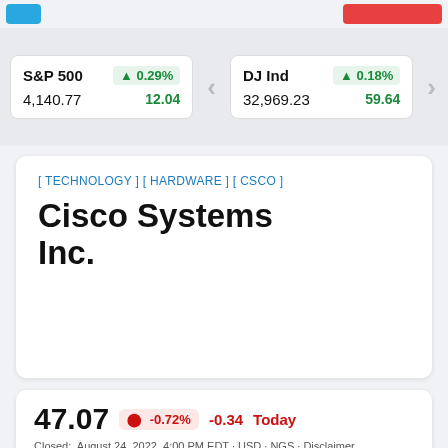S&P 500  ▲0.29%  4,140.77  12.04
DJ Ind  ▲0.18%  32,969.23  59.64
[ TECHNOLOGY ] [ HARDWARE ] [ CSCO ]
Cisco Systems Inc.
47.07  ⬇ -0.72%  -0.34  Today
Closed:  August 24, 2022  4:00 PM EDT · USD · NGS · Disclaimer